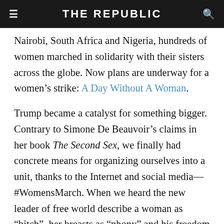THE REPUBLIC
Nairobi, South Africa and Nigeria, hundreds of women marched in solidarity with their sisters across the globe. Now plans are underway for a women’s strike: A Day Without A Woman.
Trump became a catalyst for something bigger. Contrary to Simone De Beauvoir’s claims in her book The Second Sex, we finally had concrete means for organizing ourselves into a unit, thanks to the Internet and social media—#WomensMarch. When we heard the new leader of free world describe a woman as “bitch”, her breasts as “phony” and his freedom to do anything to women, including “grab them by the pussy”, we collectively